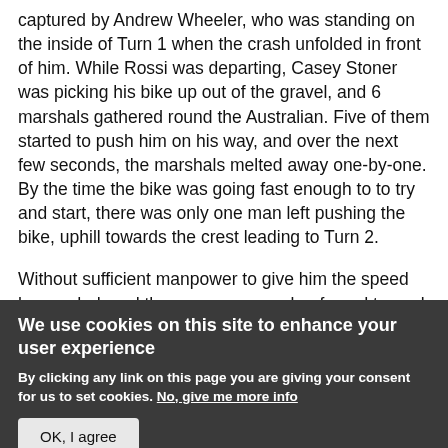captured by Andrew Wheeler, who was standing on the inside of Turn 1 when the crash unfolded in front of him. While Rossi was departing, Casey Stoner was picking his bike up out of the gravel, and 6 marshals gathered round the Australian. Five of them started to push him on his way, and over the next few seconds, the marshals melted away one-by-one. By the time the bike was going fast enough to to try and start, there was only one man left pushing the bike, uphill towards the crest leading to Turn 2.
Without sufficient manpower to give him the speed he needed, and the one corner worker forced to work uphill, to rely on gravity to assist in starting Stoner's bike...
We use cookies on this site to enhance your user experience
By clicking any link on this page you are giving your consent for us to set cookies. No, give me more info
OK, I agree